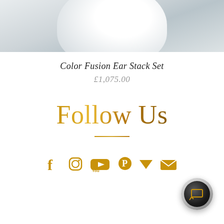[Figure (photo): Product photo showing white/light grey ceramic or porcelain jewelry stand against a grey-blue background]
Color Fusion Ear Stack Set
£1,075.00
[Figure (illustration): Follow Us text in gold cursive script with a horizontal gold divider line beneath, and social media icons (Facebook, Instagram, YouTube, Pinterest, Vimeo, Email) in gold below]
[Figure (other): Dark circular chat/messaging button in bottom right corner with white screen/monitor icon]